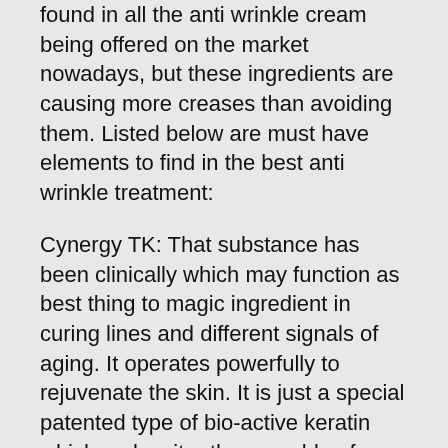found in all the anti wrinkle cream being offered on the market nowadays, but these ingredients are causing more creases than avoiding them. Listed below are must have elements to find in the best anti wrinkle treatment:
Cynergy TK: That substance has been clinically which may function as best thing to magic ingredient in curing lines and different signals of aging. It operates powerfully to rejuvenate the skin. It is just a special patented type of bio-active keratin which makes it rather capable of preventing the obvious signals of aging. It decreases lines and fine lines, stimulates tone and strength and decreases inflammation and inflammation.
Nano Lipobelle HEQ10: This can be a unique and greater version of COQ10. It has the capability to enter skin deep in to the many layers. Studies show so it has really a dramatic anti aging effect on the skin. Nano Lipobelle HEQ10 protects the skin from damage due to the UV rays of the sun. It decreases the looks of creases and offers vitamins to the skin